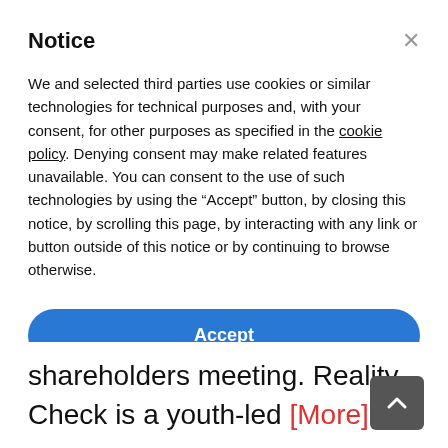Notice
We and selected third parties use cookies or similar technologies for technical purposes and, with your consent, for other purposes as specified in the cookie policy. Denying consent may make related features unavailable. You can consent to the use of such technologies by using the “Accept” button, by closing this notice, by scrolling this page, by interacting with any link or button outside of this notice or by continuing to browse otherwise.
Accept
Learn more and customize
shareholders meeting. Reality Check is a youth-led [More]